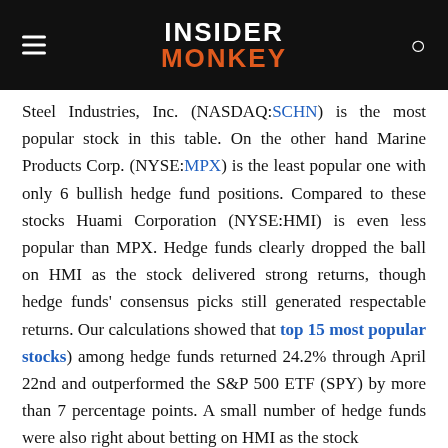INSIDER MONKEY
Steel Industries, Inc. (NASDAQ:SCHN) is the most popular stock in this table. On the other hand Marine Products Corp. (NYSE:MPX) is the least popular one with only 6 bullish hedge fund positions. Compared to these stocks Huami Corporation (NYSE:HMI) is even less popular than MPX. Hedge funds clearly dropped the ball on HMI as the stock delivered strong returns, though hedge funds' consensus picks still generated respectable returns. Our calculations showed that top 15 most popular stocks) among hedge funds returned 24.2% through April 22nd and outperformed the S&P 500 ETF (SPY) by more than 7 percentage points. A small number of hedge funds were also right about betting on HMI as the stock